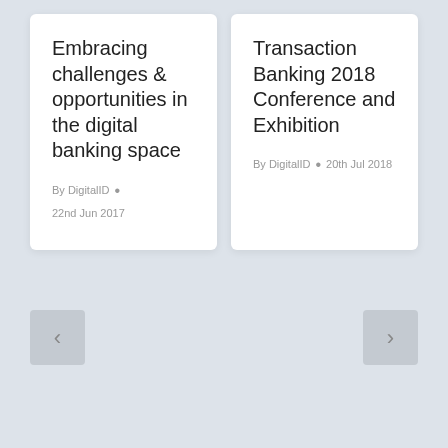Embracing challenges & opportunities in the digital banking space
By DigitalID • 22nd Jun 2017
Transaction Banking 2018 Conference and Exhibition
By DigitalID • 20th Jul 2018